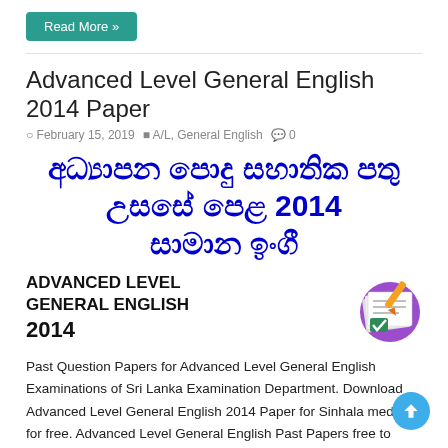Read More »
Advanced Level General English 2014 Paper
February 15, 2019   A/L, General English   0
අධාන පොදු සහාතික පතු උසසේ පෙළ 2014 සාමාන ඉංේ
[Figure (illustration): Paper/document icon with pen on purple circle background, labeled ADVANCED LEVEL GENERAL ENGLISH 2014]
Past Question Papers for Advanced Level General English Examinations of Sri Lanka Examination Department. Download Advanced Level General English 2014 Paper for Sinhala medium for free. Advanced Level General English Past Papers free to download.